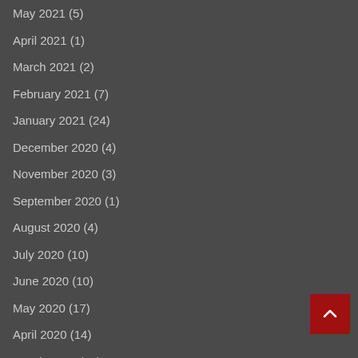May 2021 (5)
April 2021 (1)
March 2021 (2)
February 2021 (7)
January 2021 (24)
December 2020 (4)
November 2020 (3)
September 2020 (1)
August 2020 (4)
July 2020 (10)
June 2020 (10)
May 2020 (17)
April 2020 (14)
March 2020 (11)
February 2020 (64)
January 2020 (97)
December 2019 (12)